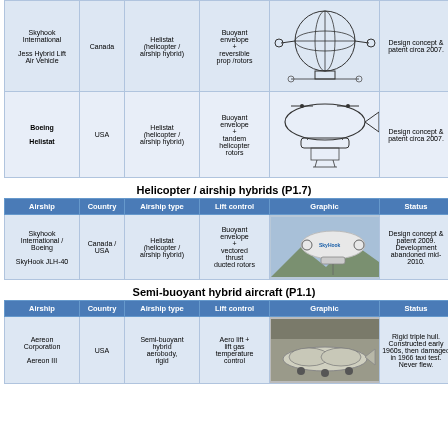| Airship | Country | Airship type | Lift control | Graphic | Status |
| --- | --- | --- | --- | --- | --- |
| Skyhook International
Jess Hybrid Lift Air Vehicle | Canada | Helistat (helicopter / airship hybrid) | Buoyant envelope + reversible prop /rotors | [image] | Design concept & patent circa 2007. |
| Boeing
Helistat | USA | Helistat (helicopter / airship hybrid) | Buoyant envelope + tandem helicopter rotors | [image] | Design concept & patent circa 2007. |
Helicopter / airship hybrids (P1.7)
| Airship | Country | Airship type | Lift control | Graphic | Status |
| --- | --- | --- | --- | --- | --- |
| Skyhook International / Boeing
SkyHook JLH-40 | Canada / USA | Helistat (helicopter / airship hybrid) | Buoyant envelope + vectored thrust ducted rotors | [image] | Design concept & patent 2009. Development abandoned mid-2010. |
Semi-buoyant hybrid aircraft (P1.1)
| Airship | Country | Airship type | Lift control | Graphic | Status |
| --- | --- | --- | --- | --- | --- |
| Aereon Corporation
Aereon III | USA | Semi-buoyant hybrid aerobody, rigid | Aero lift + lift gas temperature control | [image] | Rigid triple hull. Constructed early 1960s, then damaged in 1966 taxi test. Never flew. |